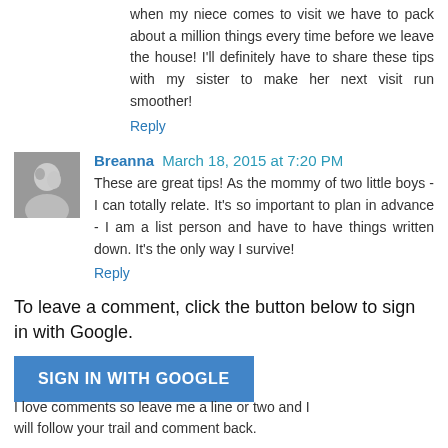when my niece comes to visit we have to pack about a million things every time before we leave the house! I'll definitely have to share these tips with my sister to make her next visit run smoother!
Reply
Breanna March 18, 2015 at 7:20 PM
These are great tips! As the mommy of two little boys - I can totally relate. It's so important to plan in advance - I am a list person and have to have things written down. It's the only way I survive!
Reply
To leave a comment, click the button below to sign in with Google.
SIGN IN WITH GOOGLE
I love comments so leave me a line or two and I will follow your trail and comment back.